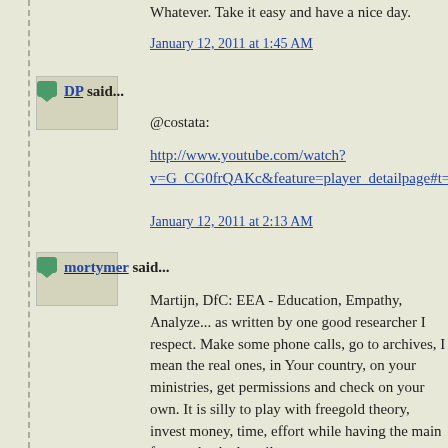Whatever. Take it easy and have a nice day.
January 12, 2011 at 1:45 AM
DP said...
@costata:
http://www.youtube.com/watch?v=G_CG0frQAKc&feature=player_detailpage#t=59s
January 12, 2011 at 2:13 AM
mortymer said...
Martijn, DfC: EEA - Education, Empathy, Analyze... as written by one good researcher I respect. Make some phone calls, go to archives, I mean the real ones, in Your country, on your ministries, get permissions and check on your own. It is silly to play with freegold theory, invest money, time, effort while having the main fact unchecked, smile.
Look even FOFOA has same opinion about US gold. I was also dealing with the same doubts. So, if it bothers someone, there is a way...
People lately too much tend to use just internet sources and forget the printed literature and people on certain public positions whose